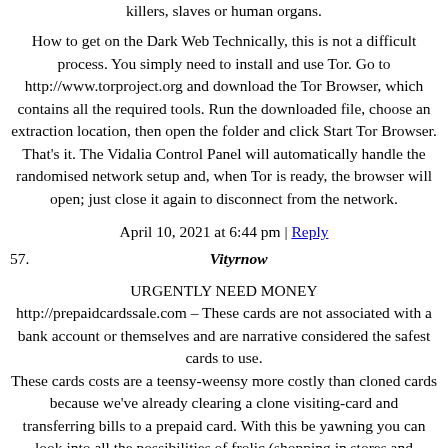killers, slaves or human organs.
How to get on the Dark Web Technically, this is not a difficult process. You simply need to install and use Tor. Go to http://www.torproject.org and download the Tor Browser, which contains all the required tools. Run the downloaded file, choose an extraction location, then open the folder and click Start Tor Browser. That's it. The Vidalia Control Panel will automatically handle the randomised network setup and, when Tor is ready, the browser will open; just close it again to disconnect from the network.
April 10, 2021 at 6:44 pm | Reply
57.
Vityrnow
URGENTLY NEED MONEY
http://prepaidcardssale.com – These cards are not associated with a bank account or themselves and are narrative considered the safest cards to use. These cards costs are a teensy-weensy more costly than cloned cards because we've already clearing a clone visiting-card and transferring bills to a prepaid card. With this be yawning you can look into all the possibilities of frolic (shopping in stores and withdrawals) along with armistice of mind. These cards are associated with a bank account and can be toughened in